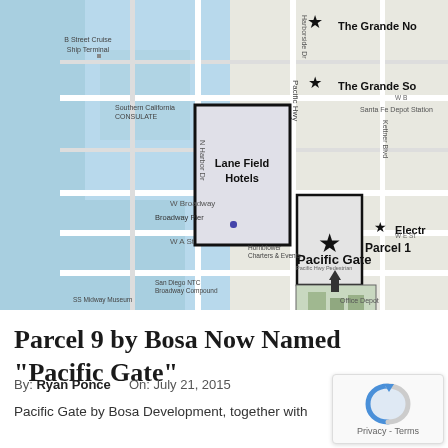[Figure (map): Street map of San Diego waterfront area showing Lane Field Hotels (large outlined rectangle), Parcel 1 (smaller outlined rectangle with star), The Grande No (star marker top right), The Grande So (star marker right), Electra (star marker lower right), and Pacific Gate (building rendering with upward arrow), along with streets including W Broadway, W A St, Pacific Hwy, N Harbor Dr, and landmarks like B Street Cruise Ship Terminal, Broadway Pier, Hornblower Charters & Events, San Diego NTC Broadway Compound, SS Midway Museum]
Parcel 9 by Bosa Now Named “Pacific Gate”
By: Ryan Ponce   On: July 21, 2015
Pacific Gate by Bosa Development, together with